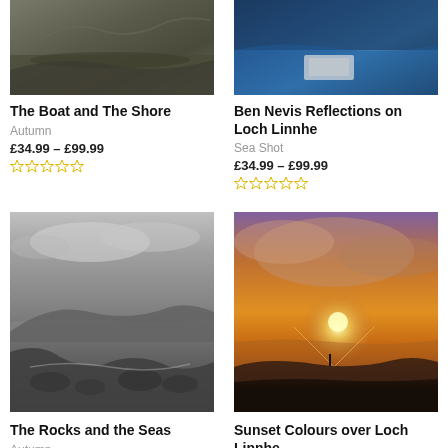[Figure (photo): Autumn landscape photo showing a path and foliage - The Boat and The Shore]
The Boat and The Shore
Autumn
£34.99 – £99.99
[Figure (photo): Blue water reflection photo - Ben Nevis Reflections on Loch Linnhe]
Ben Nevis Reflections on Loch Linnhe
Sea Shot
£34.99 – £99.99
[Figure (photo): Black and white coastal rocks and sea photo - The Rocks and the Seas]
The Rocks and the Seas
Autumn
[Figure (photo): Sunset over Loch Linnhe with warm golden colours - Sunset Colours over Loch Linnhe]
Sunset Colours over Loch Linnhe
Autumn